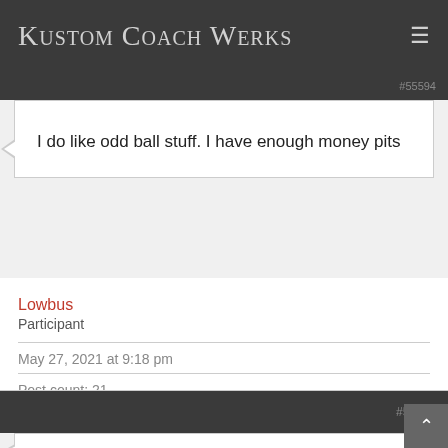Kustom Coach Werks
#55594
I do like odd ball stuff. I have enough money pits
Lowbus
Participant
May 27, 2021 at 9:18 pm
Post count: 21
#56916